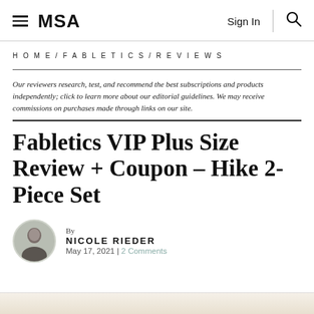MSA — Sign In | Search
HOME / FABLETICS / REVIEWS
Our reviewers research, test, and recommend the best subscriptions and products independently; click to learn more about our editorial guidelines. We may receive commissions on purchases made through links on our site.
Fabletics VIP Plus Size Review + Coupon – Hike 2-Piece Set
By NICOLE RIEDER
May 17, 2021 | 2 Comments